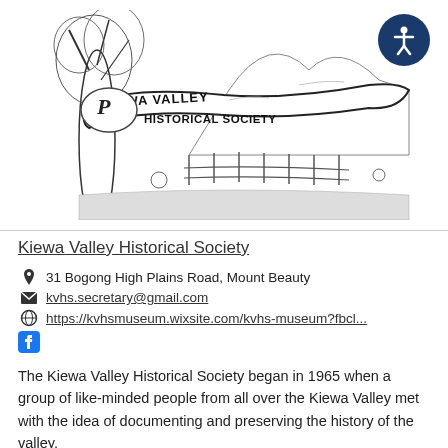[Figure (logo): Kiewa Valley Historical Society logo — a detailed black and white engraving of an old tree and rural landscape with a banner reading 'Kiewa Valley Historical Society']
Kiewa Valley Historical Society
31 Bogong High Plains Road, Mount Beauty
kvhs.secretary@gmail.com
https://kvhsmuseum.wixsite.com/kvhs-museum?fbcl...
The Kiewa Valley Historical Society began in 1965 when a group of like-minded people from all over the Kiewa Valley met with the idea of documenting and preserving the history of the valley.